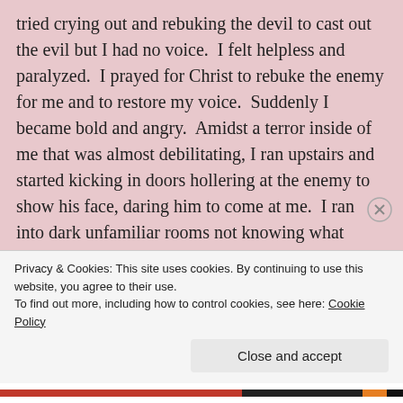tried crying out and rebuking the devil to cast out the evil but I had no voice.  I felt helpless and paralyzed.  I prayed for Christ to rebuke the enemy for me and to restore my voice.  Suddenly I became bold and angry.  Amidst a terror inside of me that was almost debilitating, I ran upstairs and started kicking in doors hollering at the enemy to show his face, daring him to come at me.  I ran into dark unfamiliar rooms not knowing what would be on the other side of the door, terrified but determined to face my enemy.  I was fed up with being afraid and I was chasing after this evil presence.  There was a room at the end of the hallway
Privacy & Cookies: This site uses cookies. By continuing to use this website, you agree to their use.
To find out more, including how to control cookies, see here: Cookie Policy
Close and accept